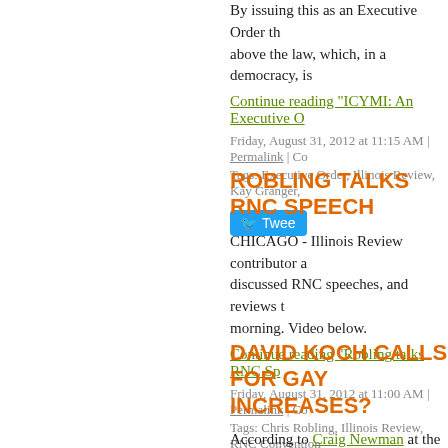By issuing this as an Executive Order th... above the law, which, in a democracy, is
Continue reading "ICYMI: An Executive O..."
Friday, August 31, 2012 at 11:15 AM | Permalink | Co...
Tags: Executive Order, Illinois Review, Kay Granger,
ROBLING TALKS RNC SPEECH...
CHICAGO - Illinois Review contributor a... discussed RNC speeches, and reviews t... morning. Video below.
Continue reading "Robling talks RNC Sp..."
Friday, August 31, 2012 at 11:00 AM | Permalink | Co...
Tags: Chris Robling, Illinois Review, RNC Convention...
DAVID KOCH CALLS FOR GAY... INCREASES?
According to Craig Newman at the Sun-T... industrialist who, with brother, Charles, h... cause had a surprising message for the